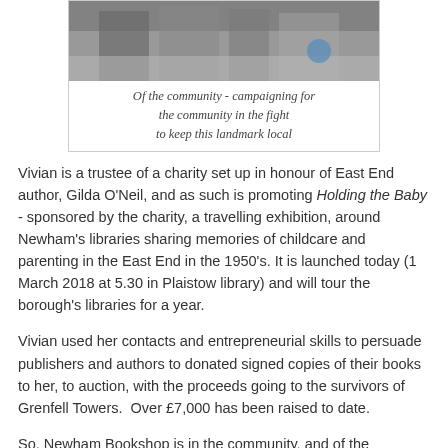[Figure (photo): Black and white photograph of a building exterior with stone architecture, people visible near the entrance]
Of the community - campaigning for the community in the fight to keep this landmark local
Vivian is a trustee of a charity set up in honour of East End author, Gilda O'Neil, and as such is promoting Holding the Baby - sponsored by the charity, a travelling exhibition, around Newham's libraries sharing memories of childcare and parenting in the East End in the 1950's. It is launched today (1 March 2018 at 5.30 in Plaistow library) and will tour the borough's libraries for a year.
Vivian used her contacts and entrepreneurial skills to persuade publishers and authors to donated signed copies of their books to her, to auction, with the proceeds going to the survivors of Grenfell Towers. Over £7,000 has been raised to date.
So, Newham Bookshop is in the community, and of the communities it serves. And it is this formula that has ensured